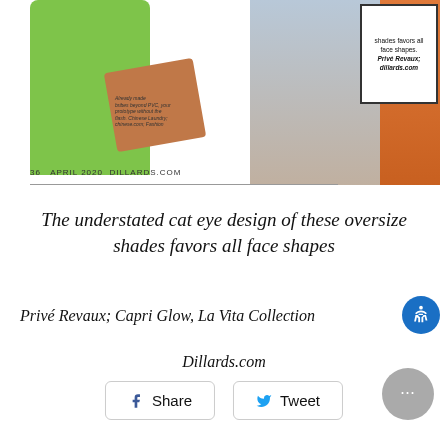[Figure (photo): Cropped magazine page showing fashion spread with green jacket, orange wedge sandals, people walking in street, orange top, and a small advertisement box. Page number 36 visible at bottom left.]
The understated cat eye design of these oversize shades favors all face shapes
Privé Revaux; Capri Glow, La Vita Collection
Dillards.com
Share
Tweet